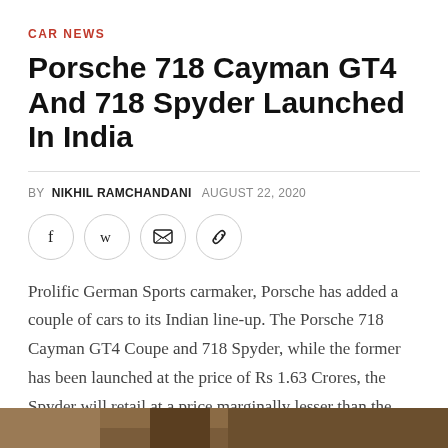CAR NEWS
Porsche 718 Cayman GT4 And 718 Spyder Launched In India
BY NIKHIL RAMCHANDANI   AUGUST 22, 2020
[Figure (infographic): Social sharing icons: Facebook, Twitter, Email, Link]
Prolific German Sports carmaker, Porsche has added a couple of cars to its Indian line-up. The Porsche 718 Cayman GT4 Coupe and 718 Spyder, while the former has been launched at the price of Rs 1.63 Crores, the Spyder will retail at a price marginally lesser than the 718 Coupe, tagged at Rs 1.59 Crores.
[Figure (photo): Bottom portion of image showing a car, partially visible]